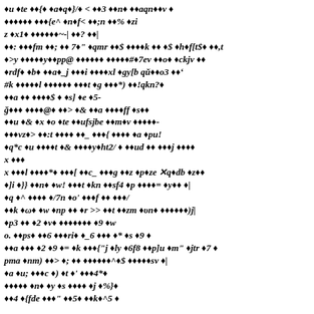Corrupted/encoded text content with diamond replacement characters throughout the page — garbled document content including fragments: {e^ n f< ;n % zi / z x1 ~-| ? / fm ;  7  qmr $ k  $ h f[t$ ,t >y y pp@ #  7ev  o  ckjv rdf  b  a_j  i  xl  gy[b q o3  : #k  l  t  g  *) !qkn? a $ s] e 5- g  @  > & a  ff s  u & x  o  te  ufsjbe  m v  - vz] >  :t  _  {  a  pu! q*c u  t & y ht2/  ud  j  x / x  l  *  [ c_  g  z p ze q db z  ]i }}  n  w!  t  kn  sf4 p  = y  | q ^ /7n o' f   / k  w  np  r >>  t  zm  un  )j| p3   2 v   9 w o. ps   6  ri  _6   * s  9 a  2  9 = k  { j  ly 6f8  p]u  m  jtr 7 pma  nm) > ;   ^$ sv  | a u;  c ) t  4* n  y s  j %}  4 {fde  5  k ^5